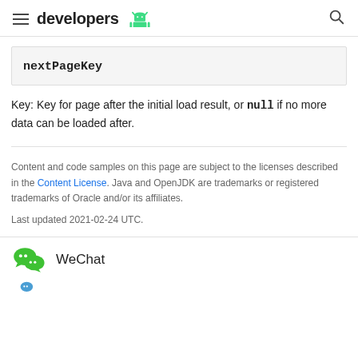developers
nextPageKey
Key: Key for page after the initial load result, or null if no more data can be loaded after.
Content and code samples on this page are subject to the licenses described in the Content License. Java and OpenJDK are trademarks or registered trademarks of Oracle and/or its affiliates.
Last updated 2021-02-24 UTC.
WeChat